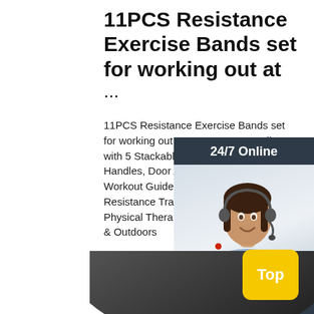11PCS Resistance Exercise Bands set for working out at ...
11PCS Resistance Exercise Bands set for working out at Home Up to 150 lbs, with 5 Stackable Fitness Tubes Handles, Door Anchor, Ankle Straps and Workout Guide with Org bag- for Resistance Training, Home Workout, Physical Therapy. : Amazon.ca: Sports & Outdoors
[Figure (screenshot): 24/7 Online chat widget with a woman wearing a headset, dark background, 'Click here for free chat!' text, and an orange QUOTATION button]
Get Price
[Figure (screenshot): Yellow 'Top' button and a dark curved surface in the bottom right corner]